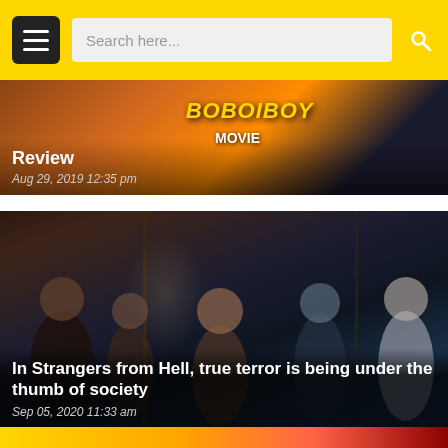Search here...
[Figure (screenshot): Partial movie review card with 'Review' label over a colorful animated movie poster (Boboiboy Movie), dated Aug 29, 2019 12:35 pm]
[Figure (photo): Dark film still from 'Strangers from Hell' showing a group of young people in a dimly lit corridor]
In Strangers from Hell, true terror is being under the thumb of society
Sep 05, 2020 11:33 am
[Figure (photo): Partial view of another article card at the bottom of the page]